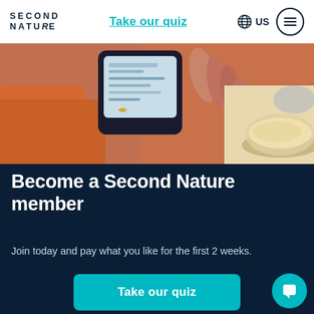SECOND NATURE | Take our quiz | US
[Figure (photo): Hands holding a smartphone, with a bowl of food in the background]
Become a Second Nature member
Join today and pay what you like for the first 2 weeks.
Take our quiz